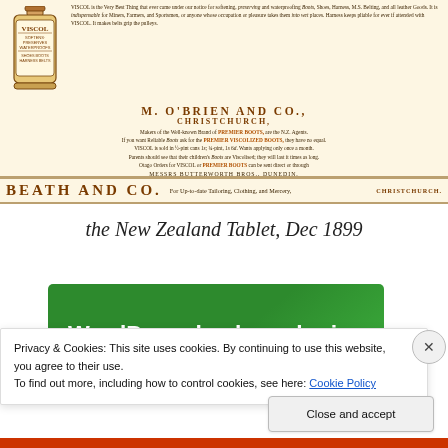[Figure (illustration): Vintage illustration of a VISCOL bottle with label reading: VISCOL SOFTENS PRESERVES WATERPROOFS SHOES BOOTS HARNESS BELTS]
VISCOL is the Very Best Thing that ever came under our notice for softening, preserving and waterproofing Boots, Shoes, Harness, M.S. Belting, and all leather Goods. It is indispensable for Miners, Farmers, and Sportsmen, or anyone whose occupation or pleasure takes them into wet places. Harness keeps pliable for ever if attended with VISCOL. It makes belts grip the pulleys.
M. O'BRIEN AND CO., CHRISTCHURCH,
Makers of the Well-known Brand of PREMIER BOOTS, are the N.Z. Agents. If you want Reliable Boots ask for the PREMIER VISCOLIZED BOOTS, they have no equal. VISCOL is sold in ½-pint cans 1s; ¼-pint, 1s 6d. Wants applying only once a month. Parents should see that their children's Boots are Viscolised; they will last it times as long. Otago Orders for VISCOL or PREMIER BOOTS can be sent direct or through
MESSRS BUTTERWORTH BROS., DUNEDIN.
BEATH AND CO.  For Up-to-date Tailoring, Clothing, and Mercery,  CHRISTCHURCH.
the New Zealand Tablet, Dec 1899
[Figure (screenshot): WordPress backup plugin advertisement banner with green background and white bold text]
Privacy & Cookies: This site uses cookies. By continuing to use this website, you agree to their use.
To find out more, including how to control cookies, see here: Cookie Policy
Close and accept